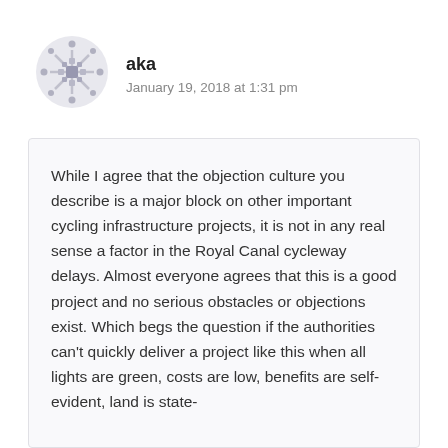[Figure (illustration): User avatar: a decorative snowflake/geometric pattern in grey tones, circular shape]
aka
January 19, 2018 at 1:31 pm
While I agree that the objection culture you describe is a major block on other important cycling infrastructure projects, it is not in any real sense a factor in the Royal Canal cycleway delays. Almost everyone agrees that this is a good project and no serious obstacles or objections exist. Which begs the question if the authorities can't quickly deliver a project like this when all lights are green, costs are low, benefits are self-evident, land is state-